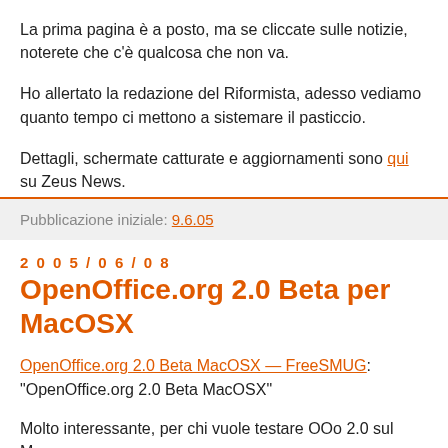La prima pagina è a posto, ma se cliccate sulle notizie, noterete che c'è qualcosa che non va.
Ho allertato la redazione del Riformista, adesso vediamo quanto tempo ci mettono a sistemare il pasticcio.
Dettagli, schermate catturate e aggiornamenti sono qui su Zeus News.
Pubblicazione iniziale: 9.6.05
2005/06/08
OpenOffice.org 2.0 Beta per MacOSX
OpenOffice.org 2.0 Beta MacOSX — FreeSMUG: "OpenOffice.org 2.0 Beta MacOSX"
Molto interessante, per chi vuole testare OOo 2.0 sul Mac,